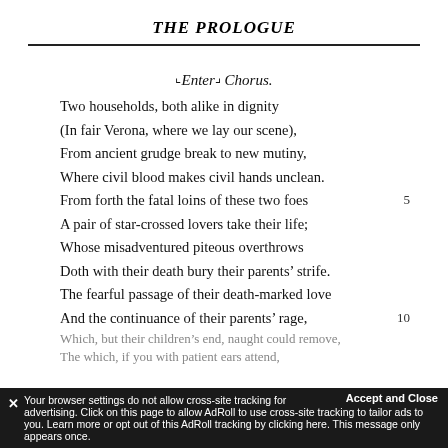THE PROLOGUE
⌐Enter¬ Chorus.
Two households, both alike in dignity
(In fair Verona, where we lay our scene),
From ancient grudge break to new mutiny,
Where civil blood makes civil hands unclean.
From forth the fatal loins of these two foes    5
A pair of star-crossed lovers take their life;
Whose misadventured piteous overthrows
Doth with their death bury their parents' strife.
The fearful passage of their death-marked love
And the continuance of their parents' rage,    10
Which, but their children's end, naught could remove,
The which, if you with patient ears attend,
Your browser settings do not allow cross-site tracking for advertising. Click on this page to allow AdRoll to use cross-site tracking to tailor ads to you. Learn more or opt out of this AdRoll tracking by clicking here. This message only appears once.